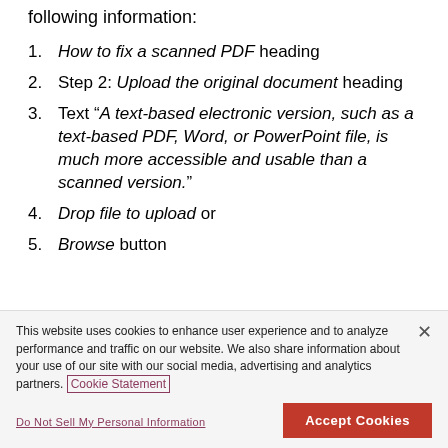following information:
How to fix a scanned PDF heading
Step 2: Upload the original document heading
Text “A text-based electronic version, such as a text-based PDF, Word, or PowerPoint file, is much more accessible and usable than a scanned version.”
Drop file to upload or
Browse button
This website uses cookies to enhance user experience and to analyze performance and traffic on our website. We also share information about your use of our site with our social media, advertising and analytics partners. Cookie Statement
Do Not Sell My Personal Information
Accept Cookies